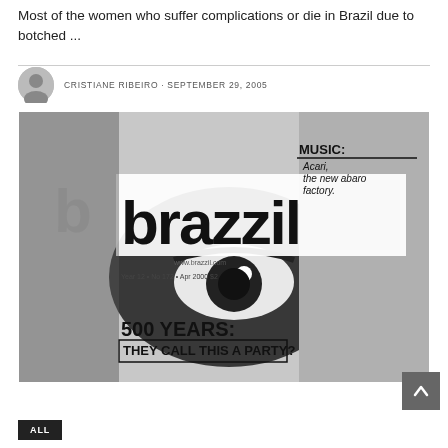Most of the women who suffer complications or die in Brazil due to botched ...
CRISTIANE RIBEIRO · SEPTEMBER 29, 2005
[Figure (photo): Black and white cover of Brazzil magazine showing a close-up of a person's eye with the large stylized text 'brazzil', MUSIC: Acari, the new abaro factory, 500 YEARS: THEY CALL THIS A PARTY?, Year 12, No 172, Apr 2000, $2, www.brazzil.com]
ALL